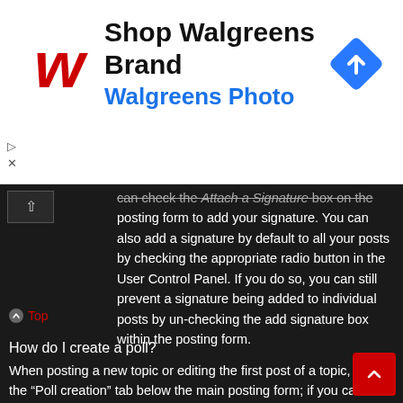[Figure (other): Walgreens advertisement banner with logo, 'Shop Walgreens Brand' title, 'Walgreens Photo' subtitle, and a blue diamond navigation icon]
can check the Attach a Signature box on the posting form to add your signature. You can also add a signature by default to all your posts by checking the appropriate radio button in the User Control Panel. If you do so, you can still prevent a signature being added to individual posts by un-checking the add signature box within the posting form.
Top
How do I create a poll?
When posting a new topic or editing the first post of a topic, click the "Poll creation" tab below the main posting form; if you cannot see this, you do not have appropriate permissions to create polls. Enter a title and at least two options in the appropriate fields, making sure each option is on a separate line in the box below. You can also set the number of